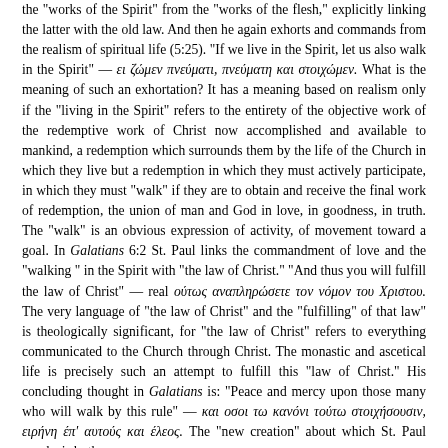the "works of the Spirit" from the "works of the flesh," explicitly linking the latter with the old law. And then he again exhorts and commands from the realism of spiritual life (5:25). "If we live in the Spirit, let us also walk in the Spirit" — ει ζώμεν πνεύματι, πνεύματη και στοιχώμεν. What is the meaning of such an exhortation? It has a meaning based on realism only if the "living in the Spirit" refers to the entirety of the objective work of the redemptive work of Christ now accomplished and available to mankind, a redemption which surrounds them by the life of the Church in which they live but a redemption in which they must actively participate, in which they must "walk" if they are to obtain and receive the final work of redemption, the union of man and God in love, in goodness, in truth. The "walk" is an obvious expression of activity, of movement toward a goal. In Galatians 6:2 St. Paul links the commandment of love and the "walking " in the Spirit with "the law of Christ." "And thus you will fulfill the law of Christ" — real ούτως αναπληρώσετε τον νόμον του Χριστου. The very language of "the law of Christ" and the "fulfilling" of that law" is theologically significant, for "the law of Christ" refers to everything communicated to the Church through Christ. The monastic and ascetical life is precisely such an attempt to fulfill this "law of Christ." His concluding thought in Galatians is: "Peace and mercy upon those many who will walk by this rule" — και οσοι τω κανόνι τούτω στοιχήσουσιν, ειρήνη έπ' αυτούς και έλεος. The "new creation" about which St. Paul speaks is both an